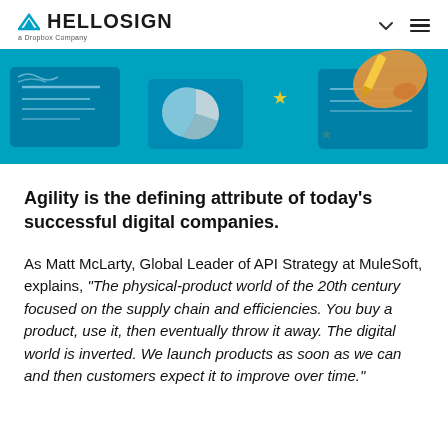HELLOSIGN a Dropbox Company
[Figure (illustration): Colorful illustration on teal/blue background showing digital documents, a hand holding a pen, stars, and document icons representing digital signing workflow.]
Agility is the defining attribute of today’s successful digital companies.
As Matt McLarty, Global Leader of API Strategy at MuleSoft, explains, “The physical-product world of the 20th century focused on the supply chain and efficiencies. You buy a product, use it, then eventually throw it away. The digital world is inverted. We launch products as soon as we can and then customers expect it to improve over time.”